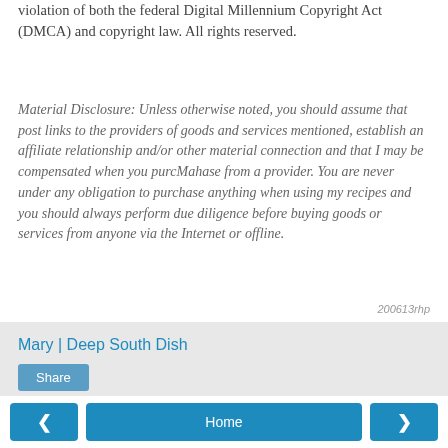violation of both the federal Digital Millennium Copyright Act (DMCA) and copyright law. All rights reserved.
Material Disclosure: Unless otherwise noted, you should assume that post links to the providers of goods and services mentioned, establish an affiliate relationship and/or other material connection and that I may be compensated when you purcMahase from a provider. You are never under any obligation to purchase anything when using my recipes and you should always perform due diligence before buying goods or services from anyone via the Internet or offline.
200613rhp
Mary | Deep South Dish
Share
Home